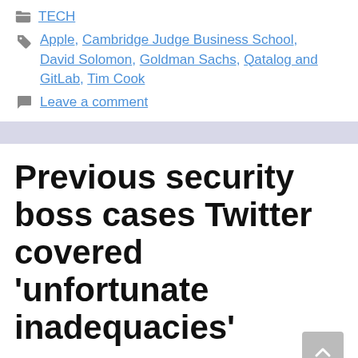TECH
Apple, Cambridge Judge Business School, David Solomon, Goldman Sachs, Qatalog and GitLab, Tim Cook
Leave a comment
Previous security boss cases Twitter covered 'unfortunate inadequacies'
23/08/2022 by mubeteadmin